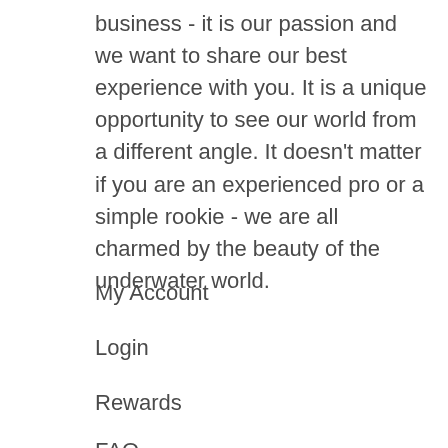business - it is our passion and we want to share our best experience with you. It is a unique opportunity to see our world from a different angle. It doesn't matter if you are an experienced pro or a simple rookie - we are all charmed by the beauty of the underwater world.
My Account
Login
Rewards
FAQ